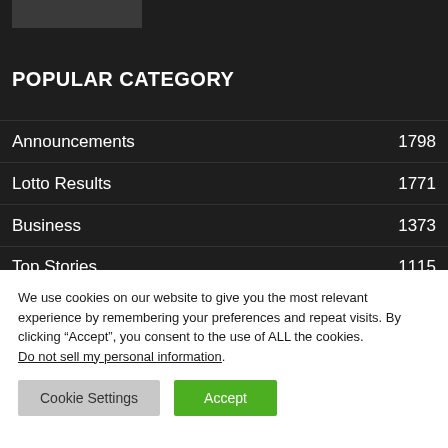[Figure (screenshot): Partial dark image placeholder visible at top left]
POPULAR CATEGORY
Announcements 1798
Lotto Results 1771
Business 1373
Top Stories 1115
We use cookies on our website to give you the most relevant experience by remembering your preferences and repeat visits. By clicking “Accept”, you consent to the use of ALL the cookies. Do not sell my personal information.